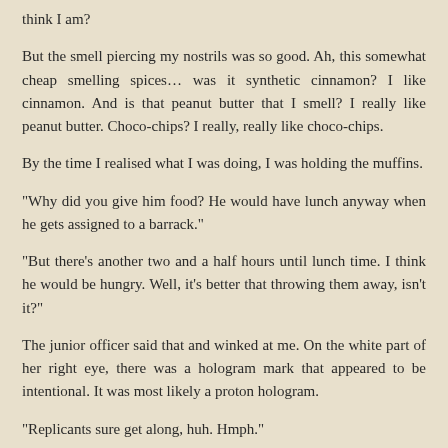think I am?
But the smell piercing my nostrils was so good. Ah, this somewhat cheap smelling spices… was it synthetic cinnamon? I like cinnamon. And is that peanut butter that I smell? I really like peanut butter. Choco-chips? I really, really like choco-chips.
By the time I realised what I was doing, I was holding the muffins.
“Why did you give him food? He would have lunch anyway when he gets assigned to a barrack.”
“But there’s another two and a half hours until lunch time. I think he would be hungry. Well, it’s better that throwing them away, isn’t it?”
The junior officer said that and winked at me. On the white part of her right eye, there was a hologram mark that appeared to be intentional. It was most likely a proton hologram.
“Replicants sure get along, huh. Hmph.”
The officer grumbled like that and opened the office door.